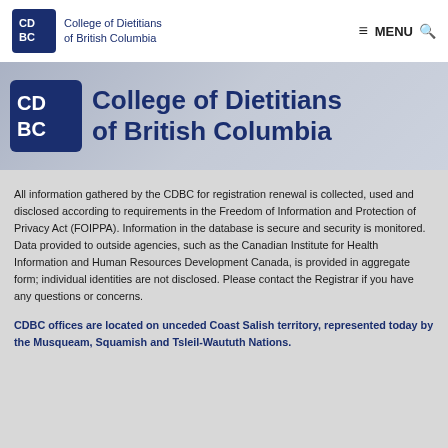College of Dietitians of British Columbia — MENU
[Figure (logo): College of Dietitians of British Columbia logo with CD BC icon and organization name in navy blue, large banner version]
All information gathered by the CDBC for registration renewal is collected, used and disclosed according to requirements in the Freedom of Information and Protection of Privacy Act (FOIPPA). Information in the database is secure and security is monitored. Data provided to outside agencies, such as the Canadian Institute for Health Information and Human Resources Development Canada, is provided in aggregate form; individual identities are not disclosed. Please contact the Registrar if you have any questions or concerns.
CDBC offices are located on unceded Coast Salish territory, represented today by the Musqueam, Squamish and Tsleil-Waututh Nations.